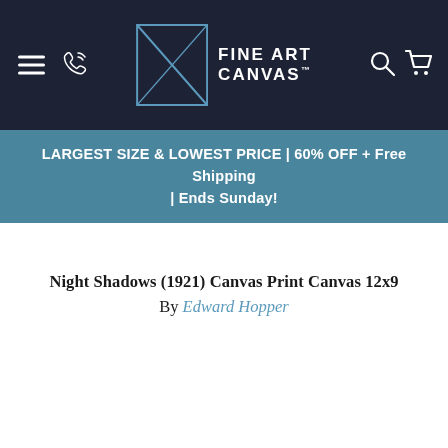Fine Art Canvas — navigation header with hamburger menu, phone icon, logo, search icon, cart icon
LARGEST SIZE & LOWEST PRICE | 60% OFF + Free Shipping | Ends Sunday!
Night Shadows (1921) Canvas Print Canvas 12x9
By Edward Hopper